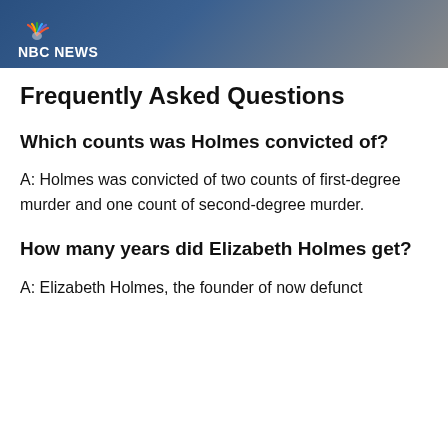[Figure (photo): NBC News header banner with logo showing peacock symbol and 'NBC NEWS' text in white on a dark blue/grey background with a person partially visible]
Frequently Asked Questions
Which counts was Holmes convicted of?
A: Holmes was convicted of two counts of first-degree murder and one count of second-degree murder.
How many years did Elizabeth Holmes get?
A: Elizabeth Holmes, the founder of now defunct